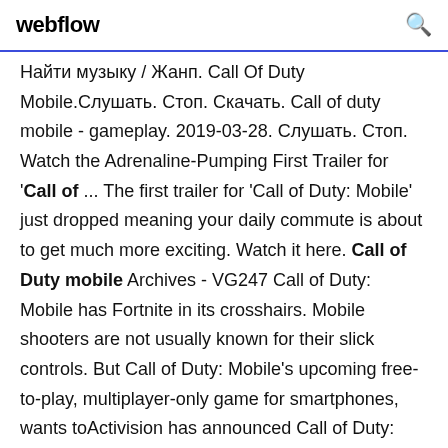webflow  [search icon]
Найти музыку / Жанп. Call Of Duty Mobile.Слушать. Стоп. Скачать. Call of duty mobile - gameplay. 2019-03-28. Слушать. Стоп. Watch the Adrenaline-Pumping First Trailer for 'Call of ... The first trailer for 'Call of Duty: Mobile' just dropped meaning your daily commute is about to get much more exciting. Watch it here. Call of Duty mobile Archives - VG247 Call of Duty: Mobile has Fortnite in its crosshairs. Mobile shooters are not usually known for their slick controls. But Call of Duty: Mobile's upcoming free-to-play, multiplayer-only game for smartphones, wants toActivision has announced Call of Duty: Mobile for Android, and iOS devices in the West. Call of Duty